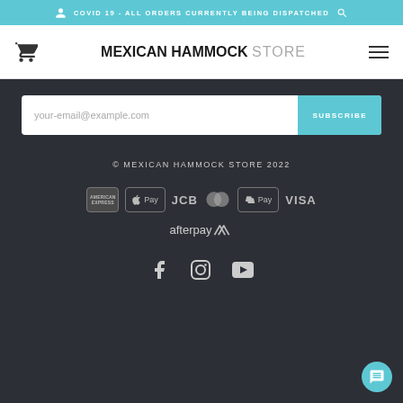COVID 19 - ALL ORDERS CURRENTLY BEING DISPATCHED
MEXICAN HAMMOCK STORE
your-email@example.com  SUBSCRIBE
© MEXICAN HAMMOCK STORE 2022
[Figure (logo): Payment logos: American Express, Apple Pay, JCB, MasterCard, Shopify Pay, VISA, Afterpay]
[Figure (other): Social media icons: Facebook, Instagram, YouTube]